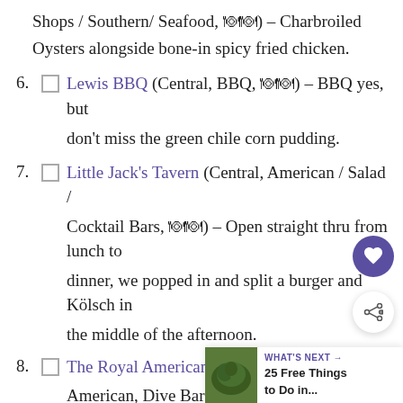Shops / Southern/ Seafood, 🍽🍽) – Charbroiled Oysters alongside bone-in spicy fried chicken.
6. Lewis BBQ (Central, BBQ, 🍽🍽) – BBQ yes, but don't miss the green chile corn pudding.
7. Little Jack's Tavern (Central, American / Salad / Cocktail Bars, 🍽🍽) – Open straight thru from lunch to dinner, we popped in and split a burger and Kölsch in the middle of the afternoon.
8. The Royal American (Central / Traditional American, Dive Bar 🍺) – Been open for over 30 years.
9. Rutledge Cab Co. (Central, New Am... Burgers / Breakfast & Brunch, 🍽🍽) – $5 burger night